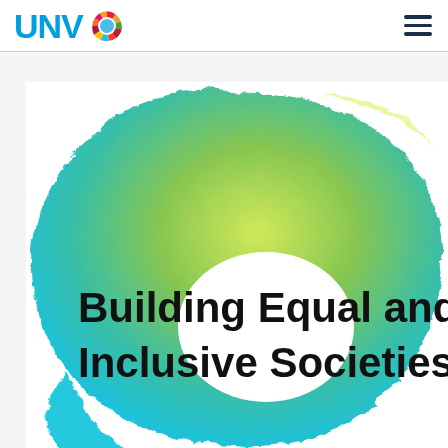UNV | [SDG Wheel Logo] [Hamburger menu]
[Figure (illustration): Watercolor circular brushstroke swirl transitioning from yellow-green at top to cyan-blue at bottom, forming an open circular shape against a white background, with bold black text overlaid reading 'Building Equal and Inclusive Societies']
Building Equal and Inclusive Societies